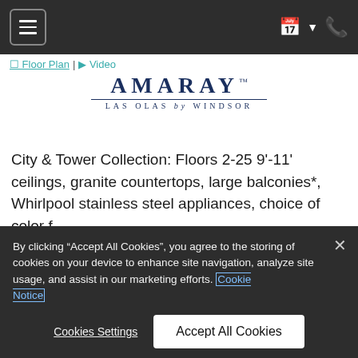[Figure (screenshot): Navigation bar with hamburger menu button on left and calendar/phone icons on right, dark background]
[Figure (logo): Amaray Las Olas by Windsor logo with serif lettering and underline]
City & Tower Collection: Floors 2-25 9'-11' ceilings, granite countertops, large balconies*, Whirlpool stainless steel appliances, choice of color f...
Read More
Apartment: #2280
By clicking “Accept All Cookies”, you agree to the storing of cookies on your device to enhance site navigation, analyze site usage, and assist in our marketing efforts. Cookie Notice
Cookies Settings
Accept All Cookies